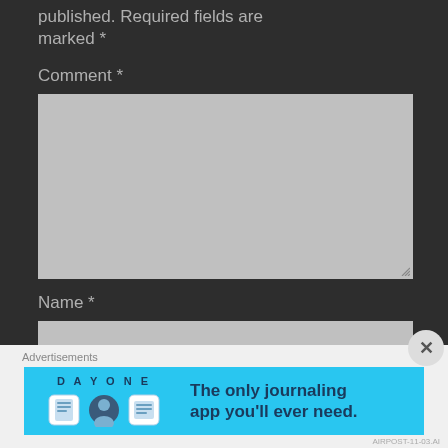published. Required fields are marked *
Comment *
[Figure (screenshot): Empty comment text area form field with gray background and resize handle]
Name *
[Figure (screenshot): Empty name input form field with gray background]
Advertisements
[Figure (screenshot): DayOne app advertisement banner: 'The only journaling app you'll ever need.' with app icons on cyan/blue background]